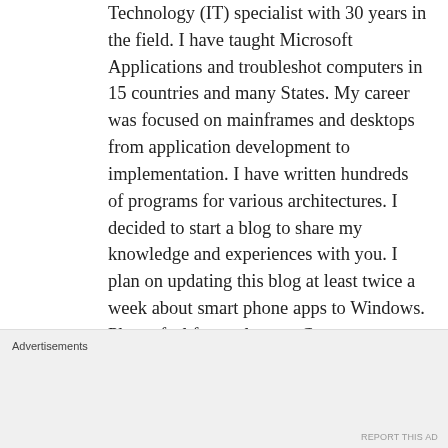Technology (IT) specialist with 30 years in the field. I have taught Microsoft Applications and troubleshot computers in 15 countries and many States. My career was focused on mainframes and desktops from application development to implementation. I have written hundreds of programs for various architectures. I decided to start a blog to share my knowledge and experiences with you. I plan on updating this blog at least twice a week about smart phone apps to Windows. Please feel free to leave a Comment or Tweet. I would love to hear from you. Do you have a computer tech question? I will do my best to answer your inquiry. Please mention the app and version that you are using. To help me out, you can send screenshots of your data related to your question.
View all posts by Raymond
Advertisements